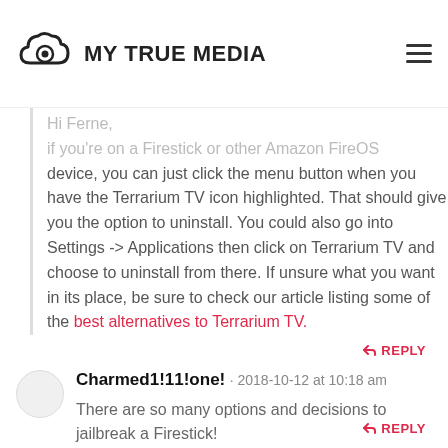MY TRUE MEDIA
Hi Ferne, if you're on a Firestick or other Amazon FireOS device, you can just click the menu button when you have the Terrarium TV icon highlighted. That should give you the option to uninstall. You could also go into Settings -> Applications then click on Terrarium TV and choose to uninstall from there. If unsure what you want in its place, be sure to check our article listing some of the best alternatives to Terrarium TV.
REPLY
Charmed1!11!one! · 2018-10-12 at 10:18 am
There are so many options and decisions to jailbreak a Firestick!
REPLY